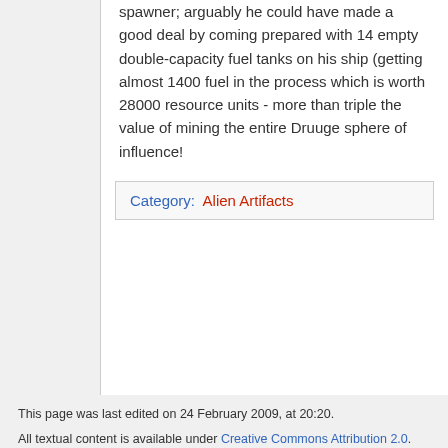spawner; arguably he could have made a good deal by coming prepared with 14 empty double-capacity fuel tanks on his ship (getting almost 1400 fuel in the process which is worth 28000 resource units - more than triple the value of mining the entire Druuge sphere of influence!
Category: Alien Artifacts
This page was last edited on 24 February 2009, at 20:20.

All textual content is available under Creative Commons Attribution 2.0.

Privacy policy   About Ultronomicon

Disclaimers